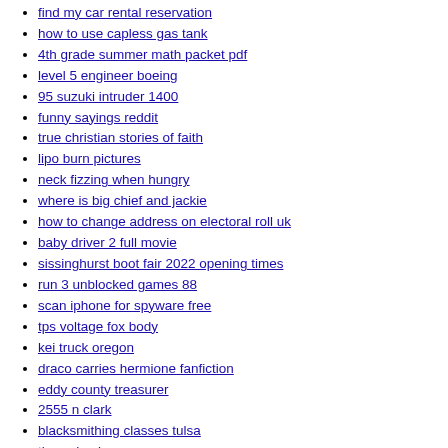emerald falls broken arrow hoa
find my car rental reservation
how to use capless gas tank
4th grade summer math packet pdf
level 5 engineer boeing
95 suzuki intruder 1400
funny sayings reddit
true christian stories of faith
lipo burn pictures
neck fizzing when hungry
where is big chief and jackie
how to change address on electoral roll uk
baby driver 2 full movie
sissinghurst boot fair 2022 opening times
run 3 unblocked games 88
scan iphone for spyware free
tps voltage fox body
kei truck oregon
draco carries hermione fanfiction
eddy county treasurer
2555 n clark
blacksmithing classes tulsa
throuple picrew
he ghosted me now what
is magnawave fda approved